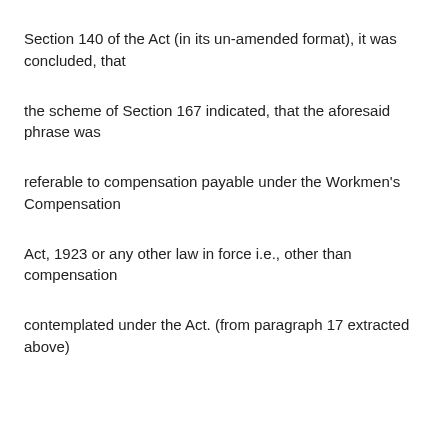Section 140 of the Act (in its un-amended format), it was concluded, that
the scheme of Section 167 indicated, that the aforesaid phrase was
referable to compensation payable under the Workmen's Compensation
Act, 1923 or any other law in force i.e., other than compensation
contemplated under the Act. (from paragraph 17 extracted above)